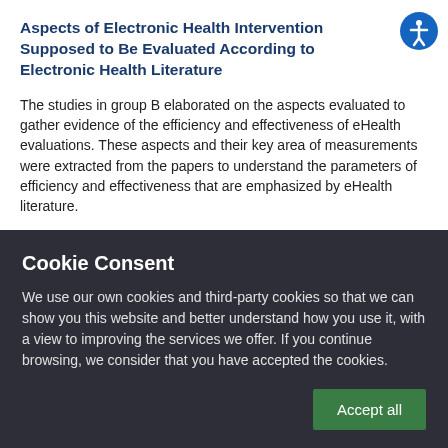Aspects of Electronic Health Intervention Supposed to Be Evaluated According to Electronic Health Literature
The studies in group B elaborated on the aspects evaluated to gather evidence of the efficiency and effectiveness of eHealth evaluations. These aspects and their key area of measurements were extracted from the papers to understand the parameters of efficiency and effectiveness that are emphasized by eHealth literature.
Cookie Consent
We use our own cookies and third-party cookies so that we can show you this website and better understand how you use it, with a view to improving the services we offer. If you continue browsing, we consider that you have accepted the cookies.